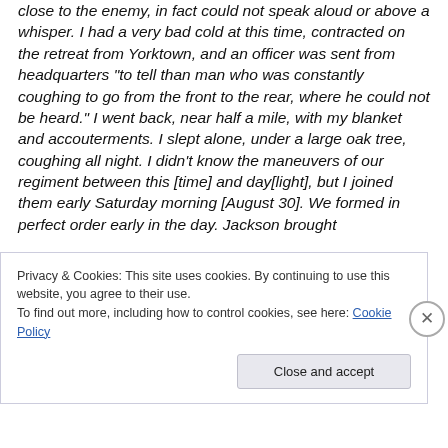close to the enemy, in fact could not speak aloud or above a whisper. I had a very bad cold at this time, contracted on the retreat from Yorktown, and an officer was sent from headquarters “to tell than man who was constantly coughing to go from the front to the rear, where he could not be heard.” I went back, near half a mile, with my blanket and accouterments. I slept alone, under a large oak tree, coughing all night. I didn’t know the maneuvers of our regiment between this [time] and day[light], but I joined them early Saturday morning [August 30]. We formed in perfect order early in the day. Jackson brought
Privacy & Cookies: This site uses cookies. By continuing to use this website, you agree to their use.
To find out more, including how to control cookies, see here: Cookie Policy